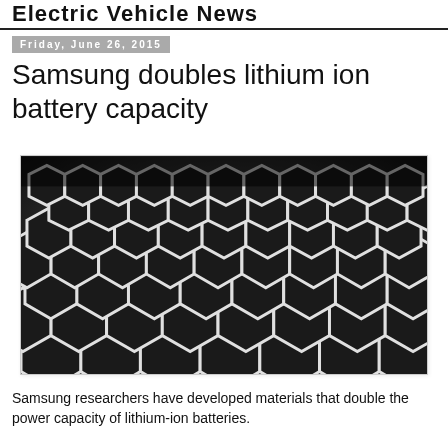Electric Vehicle News
Friday, June 26, 2015
Samsung doubles lithium ion battery capacity
[Figure (photo): Close-up photograph of graphene honeycomb lattice structure — dark hexagonal cells with white/grey connecting edges, perspective view, black and white/grayscale.]
Samsung researchers have developed materials that double the power capacity of lithium-ion batteries.